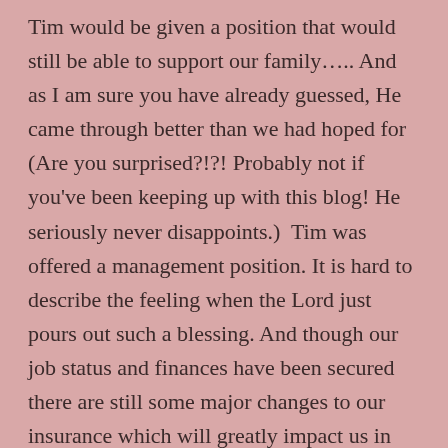Tim would be given a position that would still be able to support our family….. And as I am sure you have already guessed, He came through better than we had hoped for (Are you surprised?!?! Probably not if you've been keeping up with this blog! He seriously never disappoints.)  Tim was offered a management position. It is hard to describe the feeling when the Lord just pours out such a blessing. And though our job status and finances have been secured there are still some major changes to our insurance which will greatly impact us in the New Year, but we continue to trust God and know that we are safe relying on him! The second transition that came at the beginning of November was Tim officially came back on staff at our church as a music pastor. The timing may have seemed odd to us and